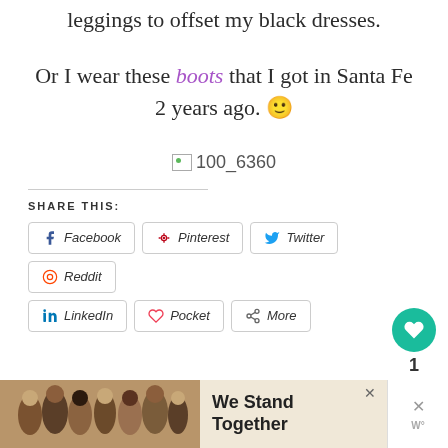leggings to offset my black dresses.
Or I wear these boots that I got in Santa Fe 2 years ago. 🙂
[Figure (other): Broken image placeholder showing filename 100_6360]
SHARE THIS:
Facebook | Pinterest | Twitter | Reddit | LinkedIn | Pocket | More
[Figure (photo): Advertisement banner showing group of people with text We Stand Together]
WHAT'S NEXT → Snow Bunnies!!